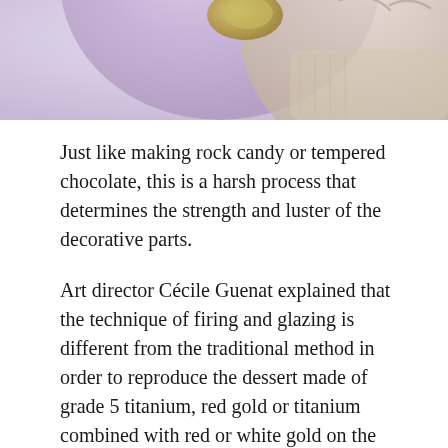[Figure (photo): Partial view of a decorative watch with lavender/purple and metallic gold details, cropped at the top of the page]
Just like making rock candy or tempered chocolate, this is a harsh process that determines the strength and luster of the decorative parts.
Art director Cécile Guenat explained that the technique of firing and glazing is different from the traditional method in order to reproduce the dessert made of grade 5 titanium, red gold or titanium combined with red or white gold on the dial. .
Guenat said: “Our enamel enamel is produced